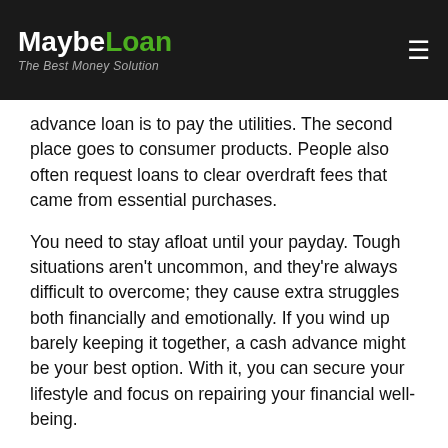MaybeLoan – The Best Money Solution
advance loan is to pay the utilities. The second place goes to consumer products. People also often request loans to clear overdraft fees that came from essential purchases.
You need to stay afloat until your payday. Tough situations aren't uncommon, and they're always difficult to overcome; they cause extra struggles both financially and emotionally. If you wind up barely keeping it together, a cash advance might be your best option. With it, you can secure your lifestyle and focus on repairing your financial well-being.
You don't like borrowing from your parents. Some people choose to solve their money issues by borrowing from people they know and trust, seeing this